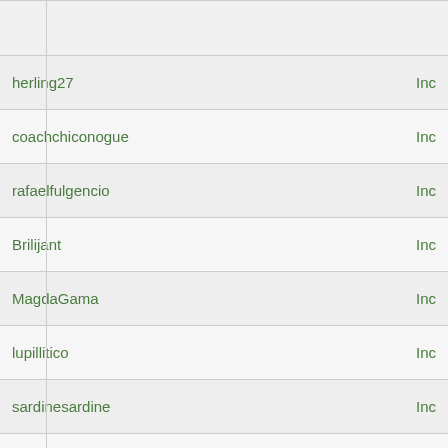| Username | Status |
| --- | --- |
| herling27 | Inc |
| coachchiconogue | Inc |
| rafaelfulgencio | Inc |
| Brilijant | Inc |
| MagdaGama | Inc |
| lupillitico | Inc |
| sardinesardine | Inc |
| Pirag87 | Inc |
| Eki44 | Inc |